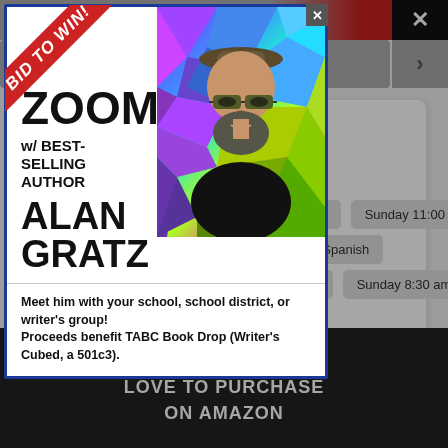[Figure (screenshot): Website page background showing navigation bar, address info, church service times, and bottom advertisement banner for Amazon products]
[Figure (photo): Popup modal advertisement overlay: 'BID TO WIN!' ribbon, ZOOM w/ BEST-SELLING AUTHOR ALAN GRATZ, photo of Alan Gratz (bearded man with glasses and hat), abstract colorful polygon background. Description: Meet him with your school, school district, or writer's group! Proceeds benefit TABC Book Drop (Writer's Cubed, a 501c3).]
2510 Broadway
Lubbock Texas 79401
(806) 762-5225
Saturday 5:00 pm
Sunday 11:00 am
Sunday 2:00 pm Spanish
Sunday 5:00 pm
Sunday 8:30 am
37 ITEMS PEOPLE LOVE TO PURCHASE ON AMAZON